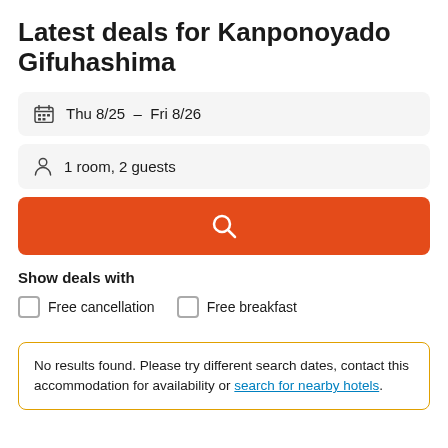Latest deals for Kanponoyado Gifuhashima
Thu 8/25  -  Fri 8/26
1 room, 2 guests
[Figure (other): Orange search button with magnifying glass icon]
Show deals with
Free cancellation
Free breakfast
No results found. Please try different search dates, contact this accommodation for availability or search for nearby hotels.